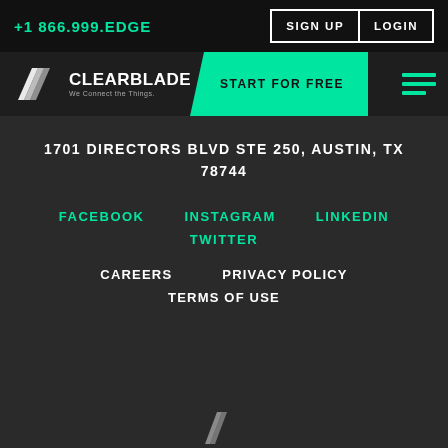+1 866.999.EDGE   SIGN UP   LOGIN
[Figure (logo): ClearBlade logo with tagline 'We Connect the Things.' and Start For Free button and hamburger menu]
1701 DIRECTORS BLVD STE 250, AUSTIN, TX 78744
FACEBOOK   INSTAGRAM   LINKEDIN   TWITTER
CAREERS   PRIVACY POLICY   TERMS OF USE